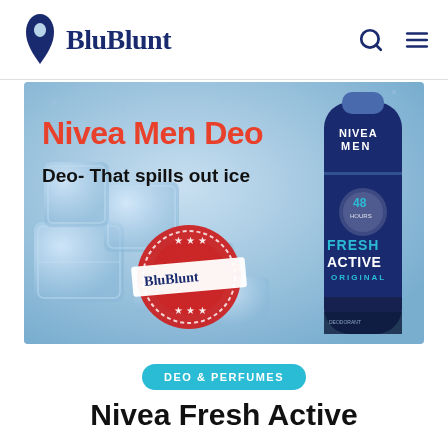BluBlunt
[Figure (photo): Nivea Men Deo advertisement banner. Blue icy background with ice cubes. Red text 'Nivea Men Deo', black text 'Deo- That spills out ice'. BluBlunt red stamp logo. Nivea Men Fresh Active Original deodorant can on the right.]
DEO & PERFUMES
Nivea Fresh Active